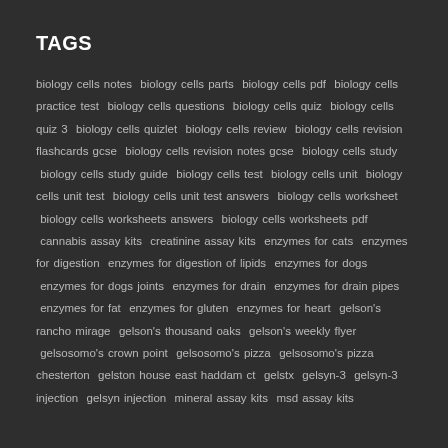TAGS
biology cells notes  biology cells parts  biology cells pdf  biology cells practice test  biology cells questions  biology cells quiz  biology cells quiz 3  biology cells quizlet  biology cells review  biology cells revision flashcards gcse  biology cells revision notes gcse  biology cells study  biology cells study guide  biology cells test  biology cells unit  biology cells unit test  biology cells unit test answers  biology cells worksheet  biology cells worksheets answers  biology cells worksheets pdf  cannabis assay kits  creatinine assay kits  enzymes for cats  enzymes for digestion  enzymes for digestion of lipids  enzymes for dogs  enzymes for dogs joints  enzymes for drain  enzymes for drain pipes  enzymes for fat  enzymes for gluten  enzymes for heart  gelson's rancho mirage  gelson's thousand oaks  gelson's weekly flyer  gelsosomo's crown point  gelsosomo's pizza  gelsosomo's pizza chesterton  gelston house east haddam ct  gelstx  gelsyn-3  gelsyn-3 injection  gelsyn injection  mineral assay kits  msd assay kits